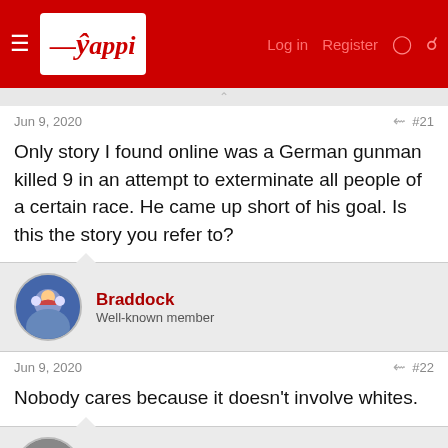Yappi — Log in  Register
Jun 9, 2020  #21
Only story I found online was a German gunman killed 9 in an attempt to exterminate all people of a certain race. He came up short of his goal. Is this the story you refer to?
Braddock — Well-known member
Jun 9, 2020  #22
Nobody cares because it doesn't involve whites.
Zunardo — Well-known member
Jun 9, 2020  #23